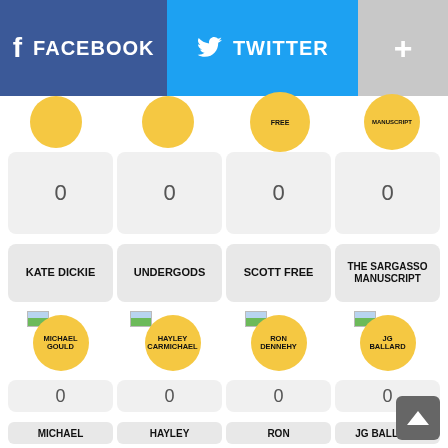[Figure (screenshot): Social sharing bar with Facebook (blue), Twitter (light blue), and plus (+) buttons]
[Figure (screenshot): Grid of content cards showing avatar circles partially visible at top, then count boxes showing 0 for Kate Dickie, Undergods, Scott Free, The Sargasso Manuscript]
0
0
0
0
KATE DICKIE
UNDERGODS
SCOTT FREE
THE SARGASSO MANUSCRIPT
MICHAEL GOULD
HAYLEY CARMICHAEL
RON DENNEHY
JG BALLARD
0
0
0
0
MICHAEL
HAYLEY
RON
JG BALLARD